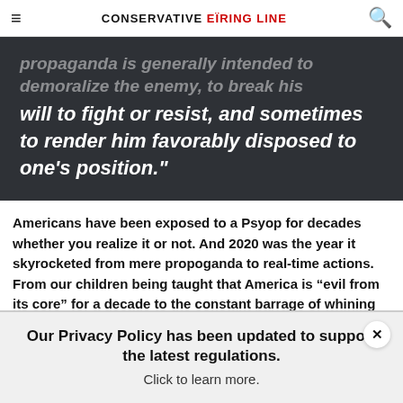CONSERVATIVE FIRING LINE
[Figure (screenshot): Dark background block quote: 'propaganda is generally intended to demoralize the enemy, to break his will to fight or resist, and sometimes to render him favorably disposed to one's position.']
Americans have been exposed to a Psyop for decades whether you realize it or not. And 2020 was the year it skyrocketed from mere propoganda to real-time actions. From our children being taught that America is “evil from its core” for a decade to the constant barrage of whining about slavery .The “pandemic” became the excuse to destroy liberty on a
Our Privacy Policy has been updated to support the latest regulations.
Click to learn more.